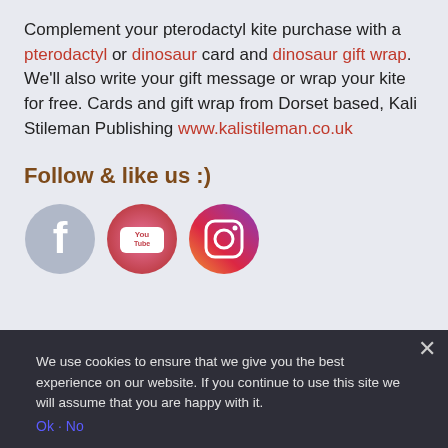Complement your pterodactyl kite purchase with a pterodactyl or dinosaur card and dinosaur gift wrap. We'll also write your gift message or wrap your kite for free. Cards and gift wrap from Dorset based, Kali Stileman Publishing www.kalistileman.co.uk
Follow & like us :)
[Figure (other): Three social media icons: Facebook (grey circular icon), YouTube (pink/red circular icon with YouTube logo), Instagram (purple gradient circular icon)]
We use cookies to ensure that we give you the best experience on our website. If you continue to use this site we will assume that you are happy with it.
Head and shoulders above any other kite. Head and shoulders above